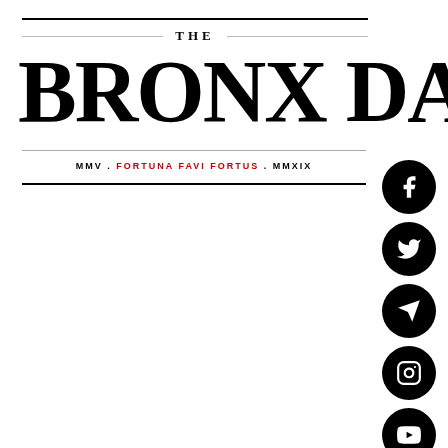THE BRONX DAILY
MMV . FORTUNA FAVI FORTUS . MMXIX
[Figure (infographic): Social media icons column on right side: Facebook, Twitter, Telegram, Instagram, YouTube, TikTok, Email, Phone, and a scroll-to-top button]